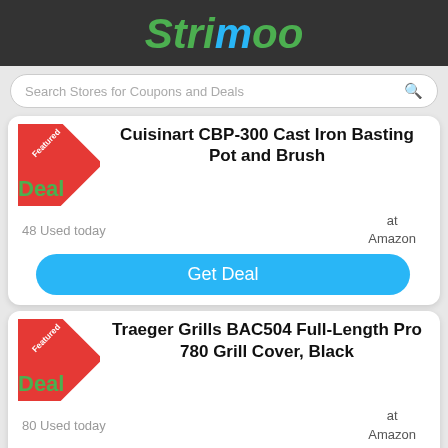Strimoo
Search Stores for Coupons and Deals
Cuisinart CBP-300 Cast Iron Basting Pot and Brush
48 Used today
at Amazon
Get Deal
Traeger Grills BAC504 Full-Length Pro 780 Grill Cover, Black
80 Used today
at Amazon
Get Deal